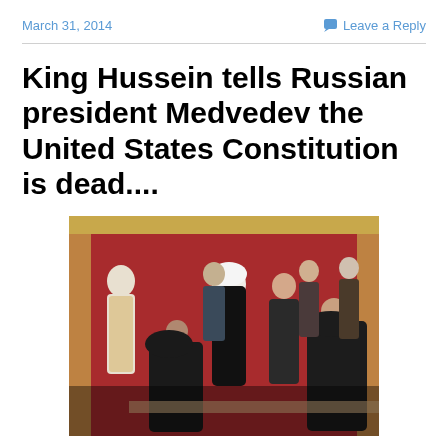March 31, 2014
Leave a Reply
King Hussein tells Russian president Medvedev the United States Constitution is dead....
[Figure (photo): Group photo of world leaders at a formal event in an ornately decorated red room. A figure in dark clothing bows toward a man in traditional Arab white headdress and black robe, surrounded by other dignitaries in suits.]